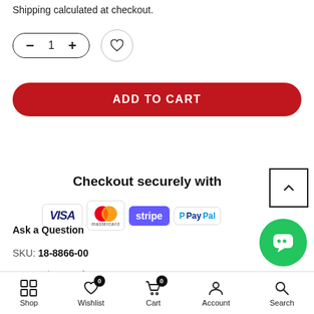Shipping calculated at checkout.
[Figure (screenshot): Quantity selector with minus, 1, plus buttons in pill shape and a heart/wishlist circular button]
[Figure (screenshot): Red ADD TO CART button]
Checkout securely with
[Figure (infographic): Payment logos: VISA, Mastercard, Stripe, PayPal]
Ask a Question
SKU: 18-8866-00
Categories: Fuel System
Shop  Wishlist 0  Cart 0  Account  Search